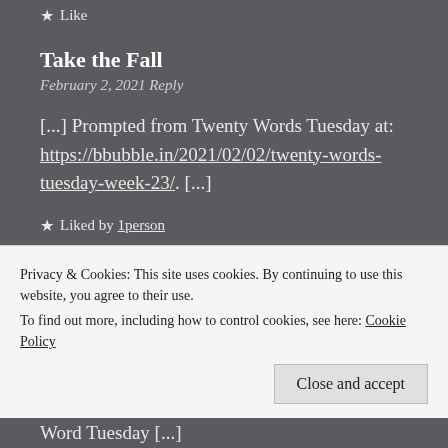★ Like
Take the Fall
February 2, 2021 Reply
[...] Prompted from Twenty Words Tuesday at: https://bbubble.in/2021/02/02/twenty-words-tuesday-week-23/. [...]
★ Liked by 1person
[Figure (photo): Small avatar/profile photo thumbnail]
Privacy & Cookies: This site uses cookies. By continuing to use this website, you agree to their use.
To find out more, including how to control cookies, see here: Cookie Policy
Close and accept
Word Tuesday [...]